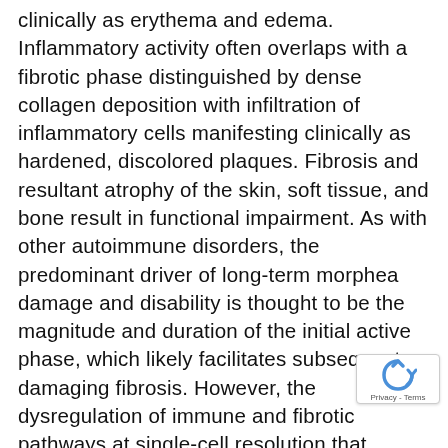clinically as erythema and edema. Inflammatory activity often overlaps with a fibrotic phase distinguished by dense collagen deposition with infiltration of inflammatory cells manifesting clinically as hardened, discolored plaques. Fibrosis and resultant atrophy of the skin, soft tissue, and bone result in functional impairment. As with other autoimmune disorders, the predominant driver of long-term morphea damage and disability is thought to be the magnitude and duration of the initial active phase, which likely facilitates subsequent damaging fibrosis. However, the dysregulation of immune and fibrotic pathways at single-cell resolution that contribute to these changes has not been systematically studied. The only widely tested treatment for morphea is a combination of corticosteroids and methotrexate, the use of which is substantially limited by toxicity, particularly in the pediatric population. Therefore, characterization of immune pathway
[Figure (other): reCAPTCHA badge with circular arrow icon and 'Privacy - Terms' text]